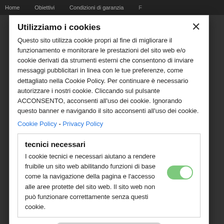Home   Obiettivi   Condizioni di garanzia   F
Utilizziamo i cookies
Questo sito utilizza cookie propri al fine di migliorare il funzionamento e monitorare le prestazioni del sito web e/o cookie derivati da strumenti esterni che consentono di inviare messaggi pubblicitari in linea con le tue preferenze, come dettagliato nella Cookie Policy. Per continuare è necessario autorizzare i nostri cookie. Cliccando sul pulsante ACCONSENTO, acconsenti all'uso dei cookie. Ignorando questo banner e navigando il sito acconsenti all'uso dei cookie.
Cookie Policy - Privacy Policy
tecnici necessari
I cookie tecnici e necessari aiutano a rendere fruibile un sito web abilitando funzioni di base come la navigazione della pagina e l'accesso alle aree protette del sito web. Il sito web non può funzionare correttamente senza questi cookie.
ACCETTA I COOKIES NECESSARI